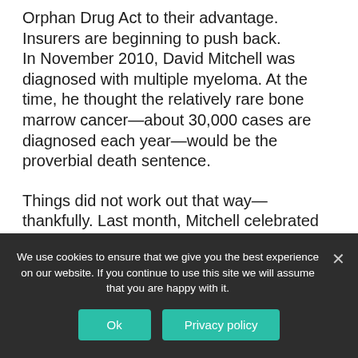Orphan Drug Act to their advantage. Insurers are beginning to push back.
In November 2010, David Mitchell was diagnosed with multiple myeloma. At the time, he thought the relatively rare bone marrow cancer—about 30,000 cases are diagnosed each year—would be the proverbial death sentence.

Things did not work out that way—thankfully. Last month, Mitchell celebrated his 67th birthday with a dream-come-true Grand Canyon rafting trip with his son.
We use cookies to ensure that we give you the best experience on our website. If you continue to use this site we will assume that you are happy with it.